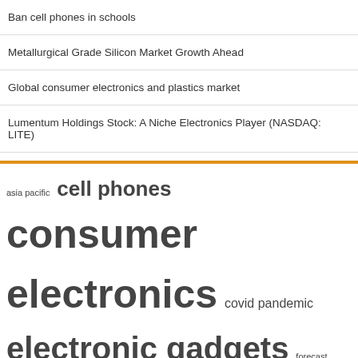Ban cell phones in schools
Metallurgical Grade Silicon Market Growth Ahead
Global consumer electronics and plastics market
Lumentum Holdings Stock: A Niche Electronics Player (NASDAQ: LITE)
[Figure (infographic): Word cloud / tag cloud with terms: asia pacific, cell phones, consumer electronics, covid pandemic, electronic gadgets, forecast period, long term, market growth, market research, market share, mobile phones, north america, supply chain, united states, vice president]
Archives
August 2022